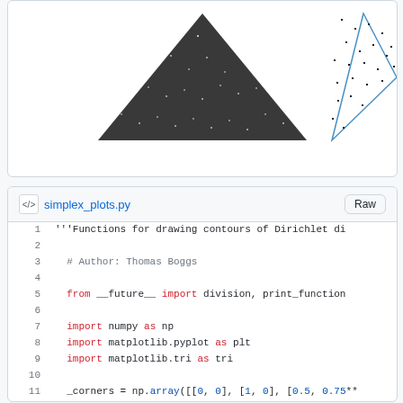[Figure (screenshot): Two simplex/triangle plots showing Dirichlet distribution contours — a filled black triangle scatter plot on the left and a wireframe triangle scatter on the right, partially cropped]
[Figure (screenshot): GitHub-style code viewer showing simplex_plots.py with syntax-highlighted Python code. Lines 1-12 visible. Keywords in red (from, import, as), function/identifiers in blue (array), comments in gray.]
1   '''Functions for drawing contours of Dirichlet di
2
3   # Author: Thomas Boggs
4
5   from __future__ import division, print_function
6
7   import numpy as np
8   import matplotlib.pyplot as plt
9   import matplotlib.tri as tri
10
11  _corners = np.array([[0, 0], [1, 0], [0.5, 0.75**
12  _AREA = 0.5 * 1 * 0.75**0.5